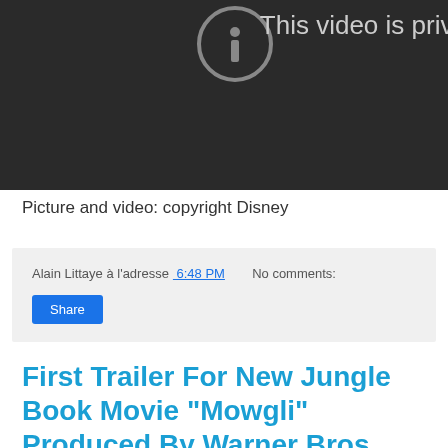[Figure (screenshot): Dark video player showing a private video message with a circular icon and the text 'This video is priva...' partially visible on a dark background.]
Picture and video: copyright Disney
Alain Littaye à l'adresse 6:48 PM   No comments:
Share
First Trailer For New Jungle Book Movie "Mowgli" Produced By Warner Bros